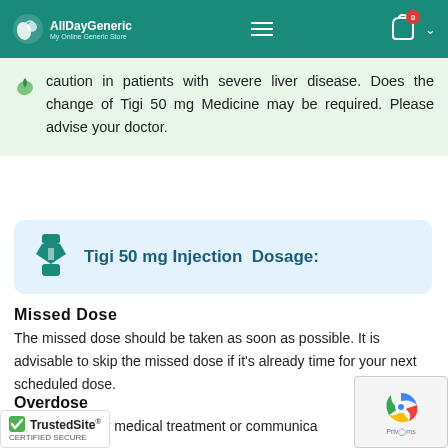AllDayGeneric - My Online Generic Store
caution in patients with severe liver disease. Does the change of Tigi 50 mg Medicine may be required. Please advise your doctor.
Tigi 50 mg Injection Dosage:
Missed Dose
The missed dose should be taken as soon as possible. It is advisable to skip the missed dose if it's already time for your next scheduled dose.
Overdose
Ask emergency medical treatment or communicate your doctor in case of overdose.